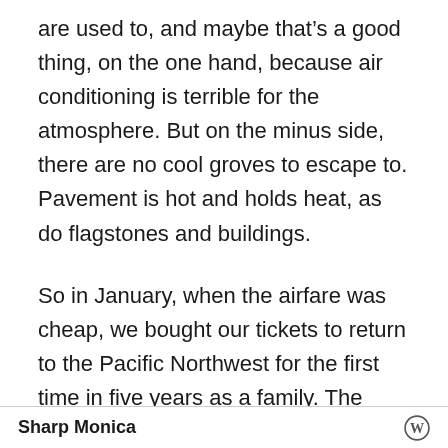are used to, and maybe that’s a good thing, on the one hand, because air conditioning is terrible for the atmosphere. But on the minus side, there are no cool groves to escape to. Pavement is hot and holds heat, as do flagstones and buildings.
So in January, when the airfare was cheap, we bought our tickets to return to the Pacific Northwest for the first time in five years as a family. The Oregon coast was blissful, misty, and cool. Almost too cool. The last cool place on earth, we
Sharp Monica